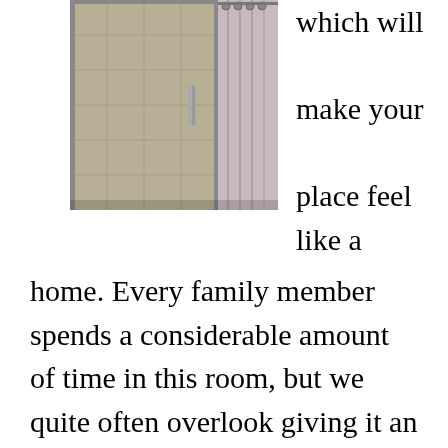[Figure (photo): A glass shower enclosure with metal fixtures, tiles visible, and a curtain to the right side.]
which will make your place feel like a home. Every family member spends a considerable amount of time in this room, but we quite often overlook giving it an upgrade during a redesign. You can do easy modifications by swapping wallpapers, lights, and cabinetry, to create a fresh new look.

You could make a designer spa feeling to your bathroom with a bit of some simple